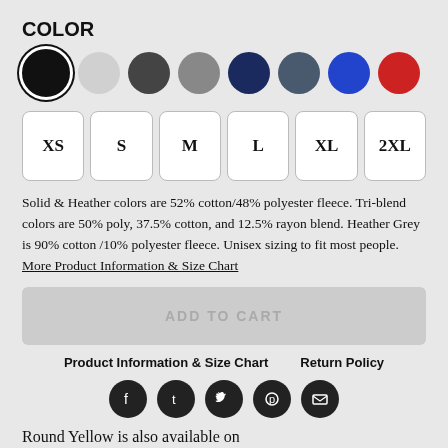COLOR
[Figure (other): Color swatches: black (selected), light gray, dark gray, gray, navy, slate, blue, red]
[Figure (other): Size selector buttons: XS, S, M, L, XL, 2XL]
Solid & Heather colors are 52% cotton/48% polyester fleece. Tri-blend colors are 50% poly, 37.5% cotton, and 12.5% rayon blend. Heather Grey is 90% cotton /10% polyester fleece. Unisex sizing to fit most people. More Product Information & Size Chart
[Figure (other): ADD TO CART button (grayed out/disabled)]
Product Information & Size Chart    Return Policy
[Figure (other): Social media icons: Facebook, Tumblr, Twitter, Pinterest, Email]
Round Yellow is also available on